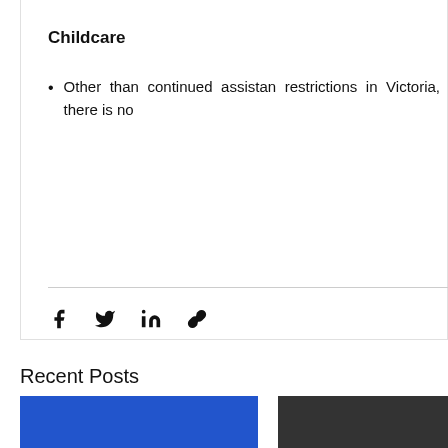Childcare
Other than continued assistance restrictions in Victoria, there is no
[Figure (infographic): Social share icons: Facebook (f), Twitter (bird), LinkedIn (in), and link/chain icon]
Recent Posts
[Figure (photo): Blue thumbnail image for a recent post]
[Figure (photo): Dark thumbnail image for a recent post]